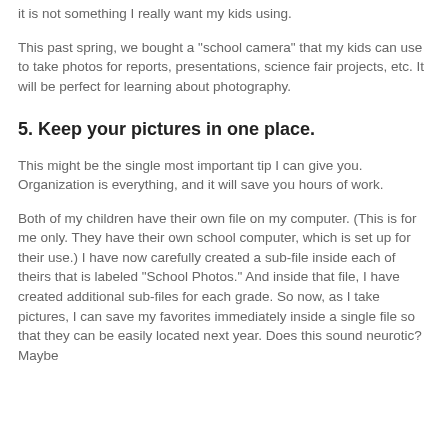it is not something I really want my kids using.
This past spring, we bought a "school camera" that my kids can use to take photos for reports, presentations, science fair projects, etc. It will be perfect for learning about photography.
5. Keep your pictures in one place.
This might be the single most important tip I can give you. Organization is everything, and it will save you hours of work.
Both of my children have their own file on my computer. (This is for me only. They have their own school computer, which is set up for their use.) I have now carefully created a sub-file inside each of theirs that is labeled "School Photos." And inside that file, I have created additional sub-files for each grade. So now, as I take pictures, I can save my favorites immediately inside a single file so that they can be easily located next year. Does this sound neurotic? Maybe